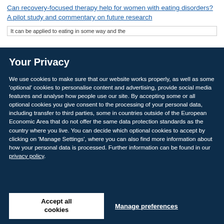Can recovery-focused therapy help for women with eating disorders? A pilot study and commentary on future research
It can be applied to eating in some way and the
Your Privacy
We use cookies to make sure that our website works properly, as well as some ‘optional’ cookies to personalise content and advertising, provide social media features and analyse how people use our site. By accepting some or all optional cookies you give consent to the processing of your personal data, including transfer to third parties, some in countries outside of the European Economic Area that do not offer the same data protection standards as the country where you live. You can decide which optional cookies to accept by clicking on ‘Manage Settings’, where you can also find more information about how your personal data is processed. Further information can be found in our privacy policy.
Accept all cookies
Manage preferences